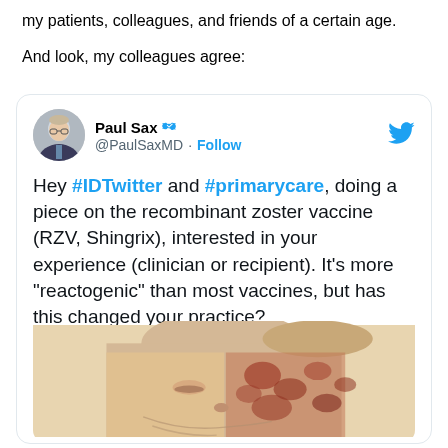my patients, colleagues, and friends of a certain age.
And look, my colleagues agree:
[Figure (screenshot): Embedded tweet from @PaulSaxMD asking about experience with recombinant zoster vaccine (RZV, Shingrix) including hashtags #IDTwitter and #primarycare, mentioning @CarlosdelRio7, with an image of a person with shingles rash on face.]